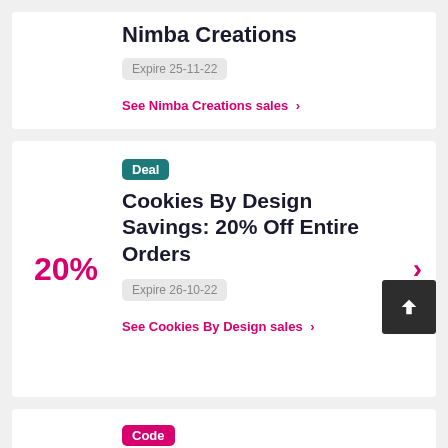Nimba Creations
Expire 25-11-22
See Nimba Creations sales
Deal
Cookies By Design Savings: 20% Off Entire Orders
20%
Expire 26-10-22
See Cookies By Design sales
Code